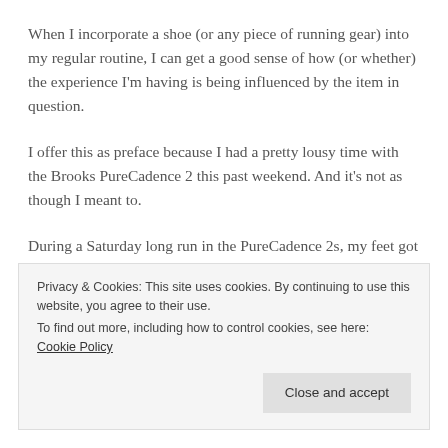When I incorporate a shoe (or any piece of running gear) into my regular routine, I can get a good sense of how (or whether) the experience I'm having is being influenced by the item in question.
I offer this as preface because I had a pretty lousy time with the Brooks PureCadence 2 this past weekend. And it's not as though I meant to.
During a Saturday long run in the PureCadence 2s, my feet got drenched when it wasn't raining, and on Sunday, I fell (and HARD!) during a run for the first time in my life. Yikes. I'm a little over halfway through my goal shoe review mileage
Privacy & Cookies: This site uses cookies. By continuing to use this website, you agree to their use.
To find out more, including how to control cookies, see here: Cookie Policy